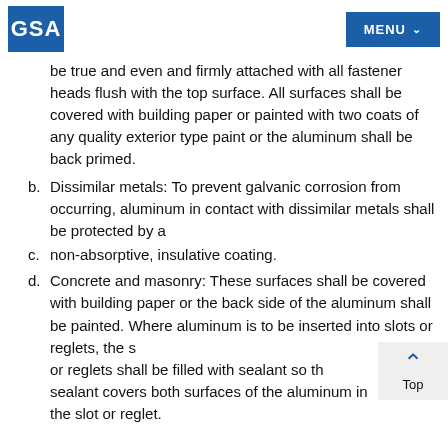GSA | MENU
be true and even and firmly attached with all fastener heads flush with the top surface. All surfaces shall be covered with building paper or painted with two coats of any quality exterior type paint or the aluminum shall be back primed.
b. Dissimilar metals: To prevent galvanic corrosion from occurring, aluminum in contact with dissimilar metals shall be protected by a
c. non-absorptive, insulative coating.
d. Concrete and masonry: These surfaces shall be covered with building paper or the back side of the aluminum shall be painted. Where aluminum is to be inserted into slots or reglets, the slots or reglets shall be filled with sealant so the sealant covers both surfaces of the aluminum in the slot or reglet.